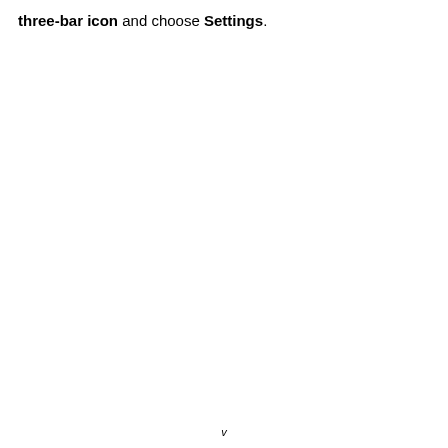three-bar icon and choose Settings.
v